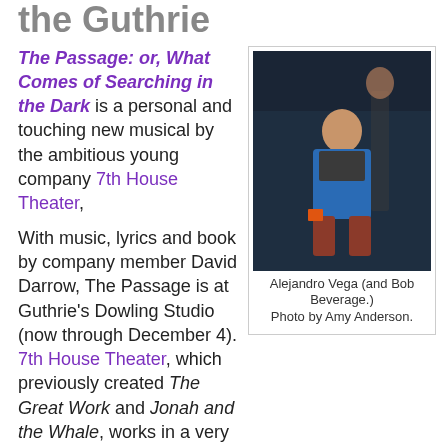the Guthrie
The Passage: or, What Comes of Searching in the Dark is a personal and touching new musical by the ambitious young company 7th House Theater,
[Figure (photo): A young boy in a blue jacket and striped shirt on a dark stage, with another figure visible in the background.]
Alejandro Vega (and Bob Beverage.) Photo by Amy Anderson.
With music, lyrics and book by company member David Darrow, The Passage is at Guthrie's Dowling Studio (now through December 4). 7th House Theater, which previously created The Great Work and Jonah and the Whale, works in a very collaborative process--the show is credited as created and directed by 7th House Theater
Eleven-year-old Albert comes home from school to a house with a monster in the basement, so he spends a lot of time in his backyard tent when he isn't braving the perils of the